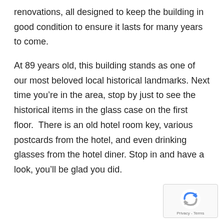renovations, all designed to keep the building in good condition to ensure it lasts for many years to come.
At 89 years old, this building stands as one of our most beloved local historical landmarks. Next time you’re in the area, stop by just to see the historical items in the glass case on the first floor.  There is an old hotel room key, various postcards from the hotel, and even drinking glasses from the hotel diner. Stop in and have a look, you’ll be glad you did.
[Figure (logo): reCAPTCHA logo with Privacy and Terms text]